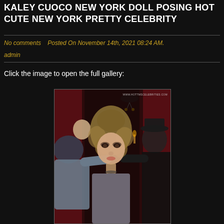Kaley Cuoco New York Doll Posing Hot Cute New York Pretty Celebrity
No comments   Posted On November 14th, 2021 08:24 AM.
admin
Click the image to open the full gallery:
[Figure (photo): A young blonde woman with curly hair styled up is having makeup applied to her face by two people on either side of her, in a dark backstage or nightclub setting with red curtains and a chandelier in the background. A watermark reading WWW.HOTTMSCELEBRITIES.COM appears in the top right corner.]